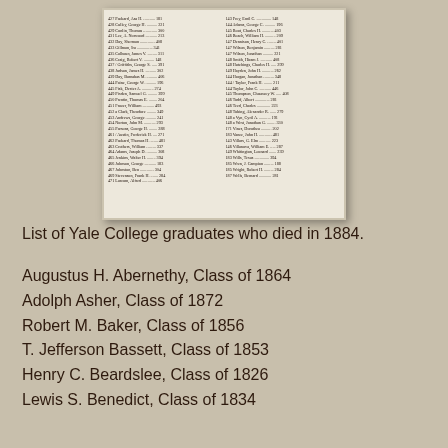[Figure (photo): Scanned image of an old registry or ledger page listing Yale College graduates, shown as a two-column list of names with dotted leaders and class years, photographed at an angle on aged cream paper.]
List of Yale College graduates who died in 1884.
Augustus H. Abernethy, Class of 1864
Adolph Asher, Class of 1872
Robert M. Baker, Class of 1856
T. Jefferson Bassett, Class of 1853
Henry C. Beardslee, Class of 1826
Lewis S. Benedict, Class of 1834